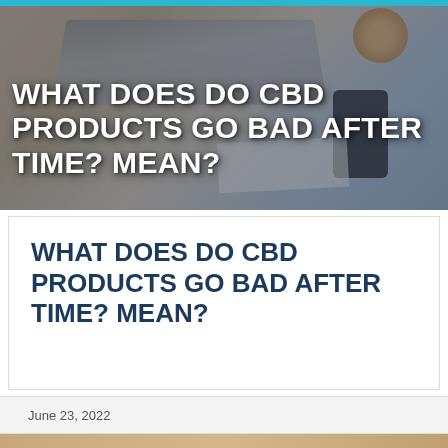[Figure (photo): Hero banner photo showing a person working at a laptop on a desk with coffee, smartphone, and papers. Dark overlay with bold white title text.]
WHAT DOES DO CBD PRODUCTS GO BAD AFTER TIME? MEAN?
WHAT DOES DO CBD PRODUCTS GO BAD AFTER TIME? MEAN?
June 23, 2022